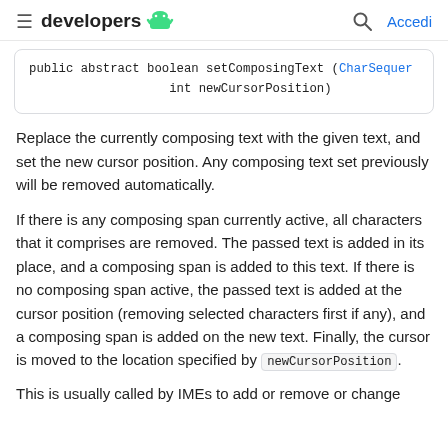developers [android icon] | [search icon] Accedi
public abstract boolean setComposingText (CharSequer
                    int newCursorPosition)
Replace the currently composing text with the given text, and set the new cursor position. Any composing text set previously will be removed automatically.
If there is any composing span currently active, all characters that it comprises are removed. The passed text is added in its place, and a composing span is added to this text. If there is no composing span active, the passed text is added at the cursor position (removing selected characters first if any), and a composing span is added on the new text. Finally, the cursor is moved to the location specified by newCursorPosition.
This is usually called by IMEs to add or remove or change...